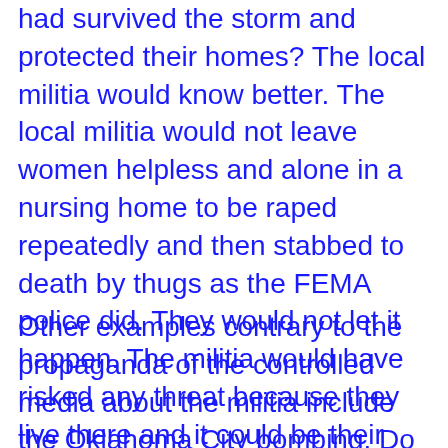had survived the storm and protected their homes? The local militia would know better. The local militia would not leave women helpless and alone in a nursing home to be raped repeatedly and then stabbed to death by thugs as the FEMA police did. They would not let it happen. The militia would have risked any threat because they live there and it could be their mothers or grandmothers threatened. The militia is the property of "we the people" and if we fail to maintain ownership then the tyrant will step in because he perceives weakness.
Other examples contrary to the propaganda of the controlled media about the militia include the Oklahoma City bombing. Do a little research by going through the archives that contain pictures of the first responders that were there at the blast site. Look closely and you will see truck caps on the back of trucks with the words "militia" on them. These were local Oklahoma militia that were there, who risked their lives just as many others did to